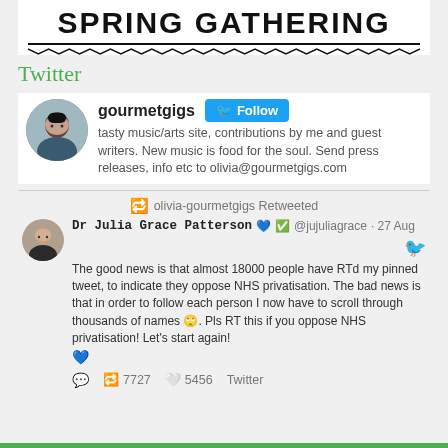[Figure (illustration): SPRING GATHERING banner text with decorative zigzag underline on white background]
Twitter
gourmetgigs Follow
tasty music/arts site, contributions by me and guest writers. New music is food for the soul. Send press releases, info etc to olivia@gourmetgigs.com
olivia-gourmetgigs Retweeted
Dr Julia Grace Patterson 💙 ✅ @jujuliagrace · 27 Aug
The good news is that almost 18000 people have RTd my pinned tweet, to indicate they oppose NHS privatisation. The bad news is that in order to follow each person I now have to scroll through thousands of names 🙄. Pls RT this if you oppose NHS privatisation! Let's start again! 💙
7727 retweets, 5456 likes, Twitter